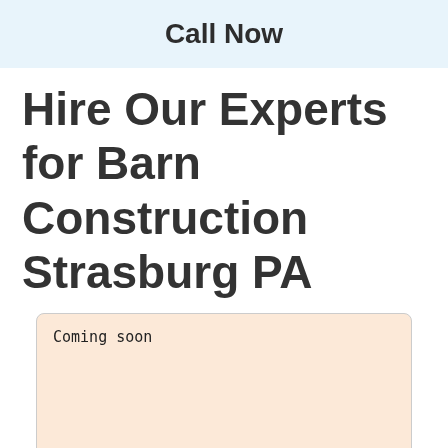Call Now
Hire Our Experts for Barn Construction Strasburg PA
Coming soon